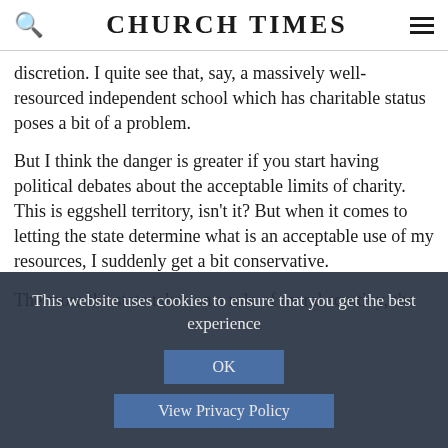CHURCH TIMES
discretion. I quite see that, say, a massively well-resourced independent school which has charitable status poses a bit of a problem.
But I think the danger is greater if you start having political debates about the acceptable limits of charity. This is eggshell territory, isn't it? But when it comes to letting the state determine what is an acceptable use of my resources, I suddenly get a bit conservative.
The more the state takes on a role of moral scrutiny, the
This website uses cookies to ensure that you get the best experience
OK
View Privacy Policy